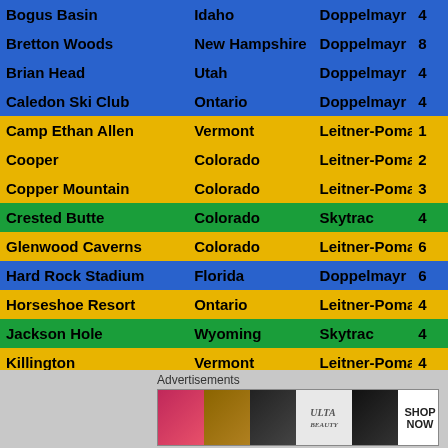| Resort | State/Province | Manufacturer | # |
| --- | --- | --- | --- |
| Bogus Basin | Idaho | Doppelmayr | 4 |
| Bretton Woods | New Hampshire | Doppelmayr | 8 |
| Brian Head | Utah | Doppelmayr | 4 |
| Caledon Ski Club | Ontario | Doppelmayr | 4 |
| Camp Ethan Allen | Vermont | Leitner-Poma | 1 |
| Cooper | Colorado | Leitner-Poma | 2 |
| Copper Mountain | Colorado | Leitner-Poma | 3 |
| Crested Butte | Colorado | Skytrac | 4 |
| Glenwood Caverns | Colorado | Leitner-Poma | 6 |
| Hard Rock Stadium | Florida | Doppelmayr | 6 |
| Horseshoe Resort | Ontario | Leitner-Poma | 4 |
| Jackson Hole | Wyoming | Skytrac | 4 |
| Killington | Vermont | Leitner-Poma | 4 |
| Lake Placid | New York | Doppelmayr | 8 |
| Lookout Pass | Idaho | Skytrac | 4 |
| Manning Park | British Columbia | Doppelmayr | 4 |
| Mont Gleason | Quebec | Doppelmayr | 4 |
| Mont St. Mathieu | Quebec | Doppelmayr |  |
Advertisements
[Figure (photo): ULTA beauty advertisement banner showing makeup-related images and SHOP NOW call to action]